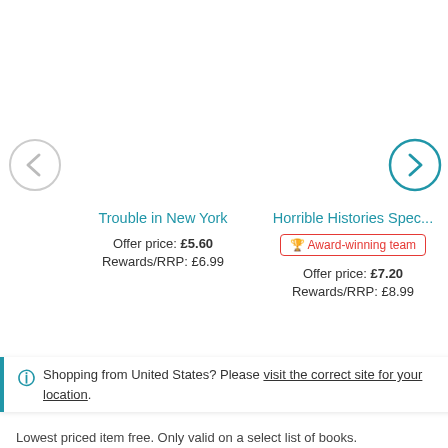[Figure (other): Left navigation arrow button (circle with left chevron, greyed out)]
[Figure (other): Right navigation arrow button (circle with right chevron, blue)]
Trouble in New York
Offer price: £5.60
Rewards/RRP: £6.99
Horrible Histories Spec...
Award-winning team
Offer price: £7.20
Rewards/RRP: £8.99
Promotions available
Shopping from United States? Please visit the correct site for your location.
Lowest priced item free. Only valid on a select list of books.